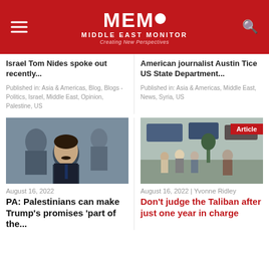[Figure (logo): MEMO Middle East Monitor logo with red background, hamburger menu icon on left, search icon on right]
Israel Tom Nides spoke out recently...
American journalist Austin Tice US State Department...
Published in: Asia & Americas, Blog, Blogs - Politics, Israel, Middle East, Opinion, Palestine, US
Published in: Asia & Americas, Middle East, News, Syria, US
[Figure (photo): Man in dark suit seated at a conference, looking to the side, with other attendees wearing masks in background]
[Figure (photo): Street scene with people walking, vehicles in background, Article badge in top right corner]
August 16, 2022
August 16, 2022 | Yvonne Ridley
PA: Palestinians can make Trump's promises 'part of the...
Don't judge the Taliban after just one year in charge